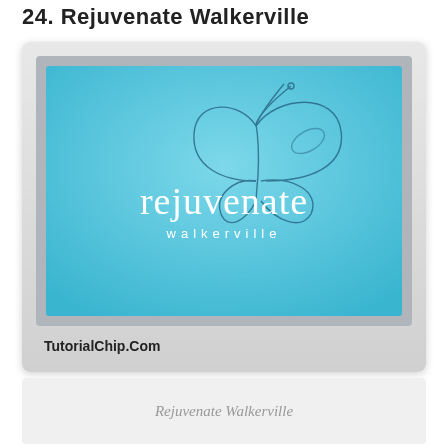24. Rejuvenate Walkerville
[Figure (logo): Rejuvenate Walkerville logo: sky blue gradient background with a butterfly outline drawing and the word 'rejuvenate' in white lowercase serif font, with 'walkerville' below in smaller spaced letters]
TutorialChip.Com
Rejuvenate Walkerville